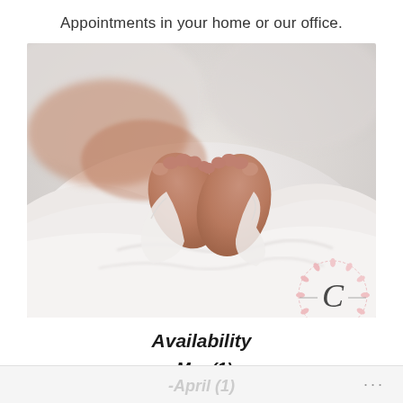Appointments in your home or our office.
[Figure (photo): Close-up photograph of a newborn baby's feet wrapped in a soft white cloth/swaddle blanket, with a watermark logo featuring a cursive 'C' and pink floral design in the bottom right corner.]
Availability
-Mar (1)
-April (1)